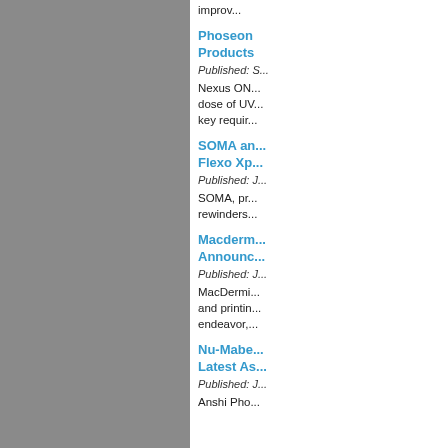improv...
Phoseon Products
Published: S...
Nexus ON... dose of UV... key requir...
SOMA and Flexo Xp...
Published: J...
SOMA, pr... rewinders...
Macderm Announc...
Published: J...
MacDermi... and printin... endeavor,...
Nu-Mabe Latest As...
Published: J...
Anshi Pho...